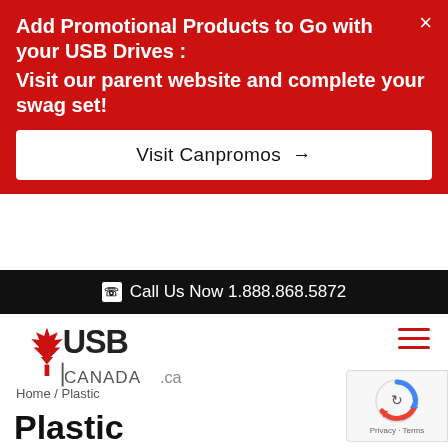Add Promotional Products to Go with your USB Drives : Visit our parent website and complete your swag set!
Visit Canpromos →
Call Us Now 1.888.868.5872
[Figure (logo): USB Canada.ca logo with maple leaf]
Home / Plastic
Plastic